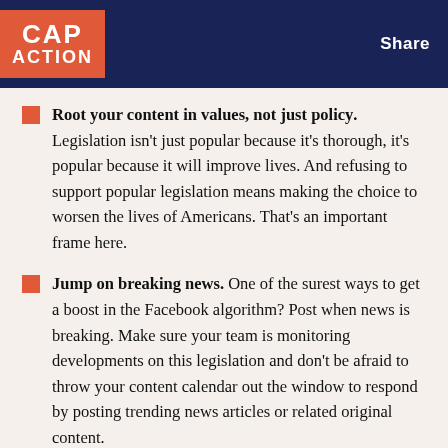CAP ACTION | Share
Root your content in values, not just policy. Legislation isn’t just popular because it’s thorough, it’s popular because it will improve lives. And refusing to support popular legislation means making the choice to worsen the lives of Americans. That’s an important frame here.
Jump on breaking news. One of the surest ways to get a boost in the Facebook algorithm? Post when news is breaking. Make sure your team is monitoring developments on this legislation and don’t be afraid to throw your content calendar out the window to respond by posting trending news articles or related original content.